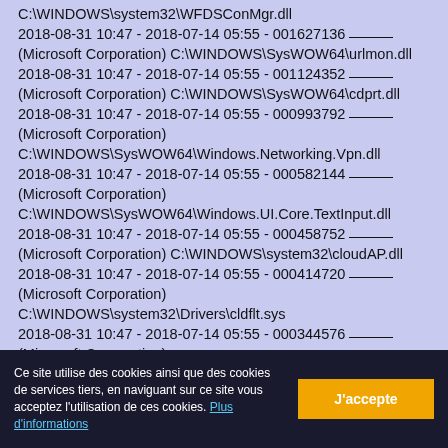C:\WINDOWS\system32\WFDSConMgr.dll
2018-08-31 10:47 - 2018-07-14 05:55 - 001627136 _____ (Microsoft Corporation) C:\WINDOWS\SysWOW64\urlmon.dll
2018-08-31 10:47 - 2018-07-14 05:55 - 001124352 _____ (Microsoft Corporation) C:\WINDOWS\SysWOW64\cdprt.dll
2018-08-31 10:47 - 2018-07-14 05:55 - 000993792 _____ (Microsoft Corporation) C:\WINDOWS\SysWOW64\Windows.Networking.Vpn.dll
2018-08-31 10:47 - 2018-07-14 05:55 - 000582144 _____ (Microsoft Corporation) C:\WINDOWS\SysWOW64\Windows.UI.Core.TextInput.dll
2018-08-31 10:47 - 2018-07-14 05:55 - 000458752 _____ (Microsoft Corporation) C:\WINDOWS\system32\cloudAP.dll
2018-08-31 10:47 - 2018-07-14 05:55 - 000414720 _____ (Microsoft Corporation) C:\WINDOWS\system32\Drivers\cldflt.sys
2018-08-31 10:47 - 2018-07-14 05:55 - 000344576 _____ (Microsoft Corporation) C:\WINDOWS\system32\RasMediaManager.dll
2018-08-31 10:47 - 2018-07-14 05:55 - 000317449
Ce site utilise des cookies ainsi que des cookies de services tiers, en naviguant sur ce site vous acceptez l'utilisation de ces cookies. Plus d'informations
J'accepte